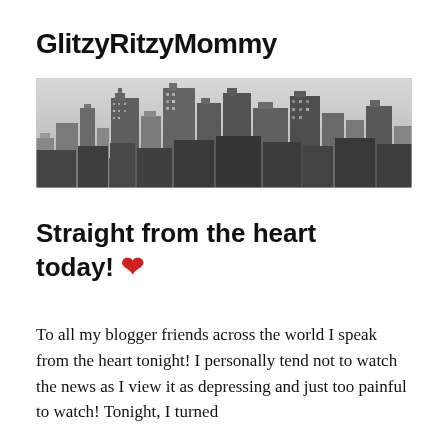GlitzyRitzyMommy
[Figure (photo): Black and white aerial photograph of a dense urban skyline with tall skyscrapers]
Straight from the heart today! ❤
To all my blogger friends across the world I speak from the heart tonight! I personally tend not to watch the news as I view it as depressing and just too painful to watch! Tonight, I turned